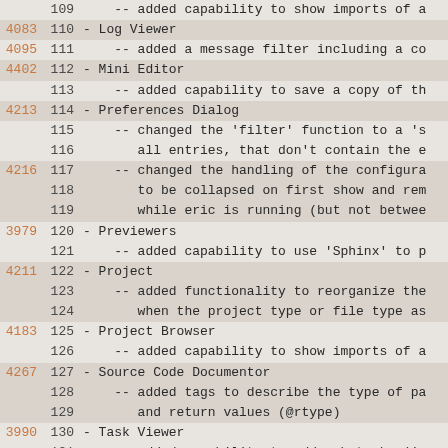Code/changelog listing with revision numbers and line numbers, showing entries for Log Viewer, Mini Editor, Preferences Dialog, Previewers, Project, Project Browser, Source Code Documentor, Task Viewer, Tools, and Version Control System Interfaces.